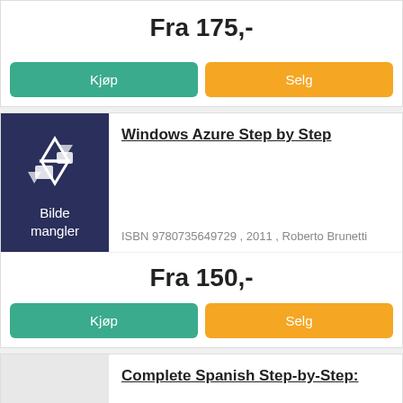Fra 175,-
Kjøp
Selg
Windows Azure Step by Step
ISBN 9780735649729 , 2011 , Roberto Brunetti
Fra 150,-
Kjøp
Selg
Complete Spanish Step-by-Step: